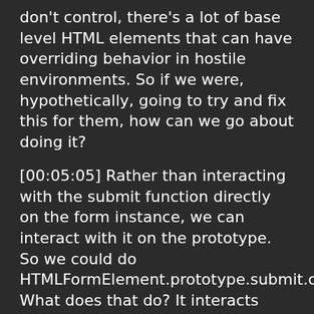don't control, there's a lot of base level HTML elements that can have overriding behavior in hostile environments. So if we were, hypothetically, going to try and fix this for them, how can we go about doing it?
[00:05:05] Rather than interacting with the submit function directly on the form instance, we can interact with it on the prototype. So we could do HTMLFormElement.prototype.submit.call(form); What does that do? It interacts with the root object that all forms inherit off from and call the submit function on it. But when we call the submit function, we specify what the value of this will be by invoking it with the call method.
[00:05:42] And say call form.submit using this as the form. And this way we can take a back